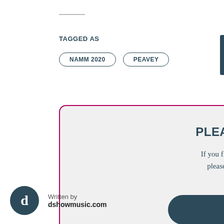TAGGED AS
NAMM 2020
PEAVEY
PLEASE DONATE
If you find this content helpful, please consider a donation. Thank you!
DONATE
Written by
dshowmusic.com